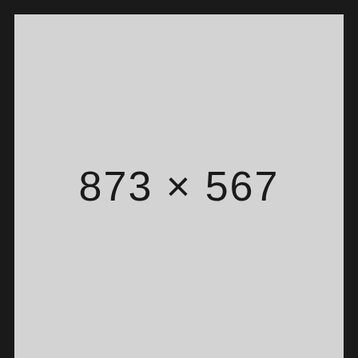[Figure (other): Placeholder image with light gray background displaying dimensions '873 × 567' in large thin font, surrounded by dark background]